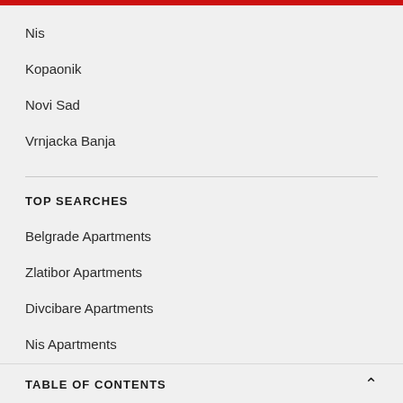Nis
Kopaonik
Novi Sad
Vrnjacka Banja
TOP SEARCHES
Belgrade Apartments
Zlatibor Apartments
Divcibare Apartments
Nis Apartments
Kopaonik Apartments
TABLE OF CONTENTS